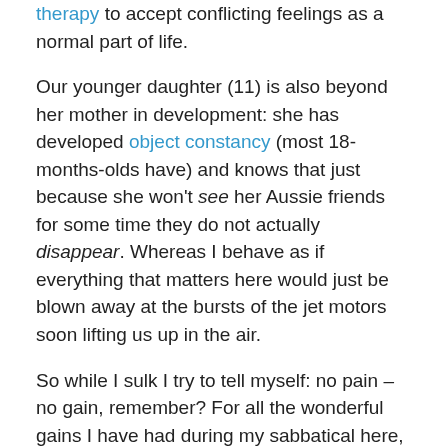therapy to accept conflicting feelings as a normal part of life.
Our younger daughter (11) is also beyond her mother in development: she has developed object constancy (most 18-months-olds have) and knows that just because she won't see her Aussie friends for some time they do not actually disappear. Whereas I behave as if everything that matters here would just be blown away at the bursts of the jet motors soon lifting us up in the air.
So while I sulk I try to tell myself: no pain – no gain, remember? For all the wonderful gains I have had during my sabbatical here, it is now time to cash in the pain.
During my walk today I really did try and consider some other possible ways that allegedly exist. But to no avail. All that happened was that I ended up asking myself: Why did